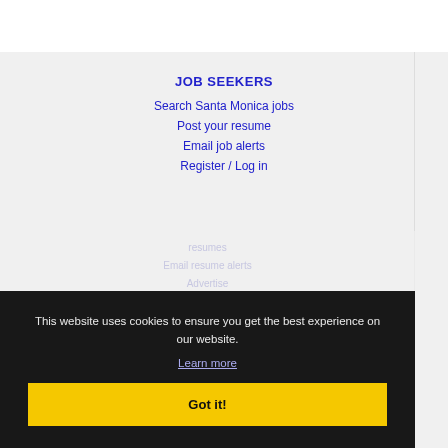JOB SEEKERS
Search Santa Monica jobs
Post your resume
Email job alerts
Register / Log in
This website uses cookies to ensure you get the best experience on our website.
Learn more
Got it!